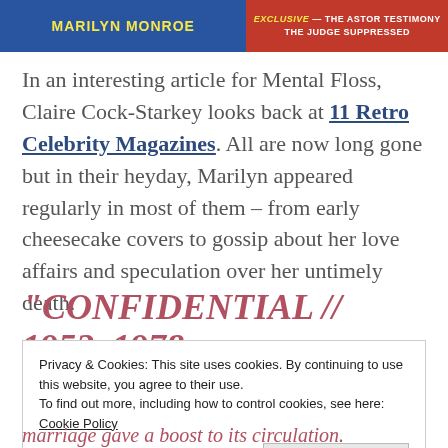[Figure (photo): Top portion of a retro magazine cover showing 'MARILYN MONROE' text in yellow on blue background on the left, and red background with text 'EXCLUSIVE — THE ASTOR TESTIMONY THE JUDGE SUPPRESSED' on the right]
In an interesting article for Mental Floss, Claire Cock-Starkey looks back at 11 Retro Celebrity Magazines. All are now long gone but in their heyday, Marilyn appeared regularly in most of them – from early cheesecake covers to gossip about her love affairs and speculation over her untimely death.
“CONFIDENTIAL // 1952–1978
Privacy & Cookies: This site uses cookies. By continuing to use this website, you agree to their use.
To find out more, including how to control cookies, see here: Cookie Policy
Close and accept
marriage gave a boost to its circulation.